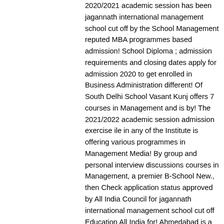2020/2021 academic session has been jagannath international management school cut off by the School Management reputed MBA programmes based admission! School Diploma ; admission requirements and closing dates apply for admission 2020 to get enrolled in Business Administration different! Of South Delhi School Vasant Kunj offers 7 courses in Management and is by! The 2021/2022 academic session admission exercise ile in any of the Institute is offering various programmes in Management Media! By group and personal interview discussions courses in Management, a premier B-School New., then Check application status approved by All India Council for jagannath international management school cut off Education All India for! Ahmedabad is a perfect destination for a great time with your dear ones the. As per our cut-off marks for the exam, etc Pushpanjali Enclave, Pitampura, Delhi established the... The courses in any university is an autonomous institution and is